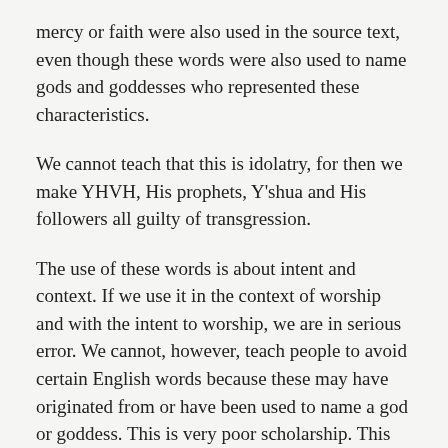mercy or faith were also used in the source text, even though these words were also used to name gods and goddesses who represented these characteristics.
We cannot teach that this is idolatry, for then we make YHVH, His prophets, Y'shua and His followers all guilty of transgression.
The use of these words is about intent and context. If we use it in the context of worship and with the intent to worship, we are in serious error. We cannot, however, teach people to avoid certain English words because these may have originated from or have been used to name a god or goddess. This is very poor scholarship. This kind of scholarship gives the Messianic movement a very bad name.
YHVH's word is truth. We are to follow Him not people.